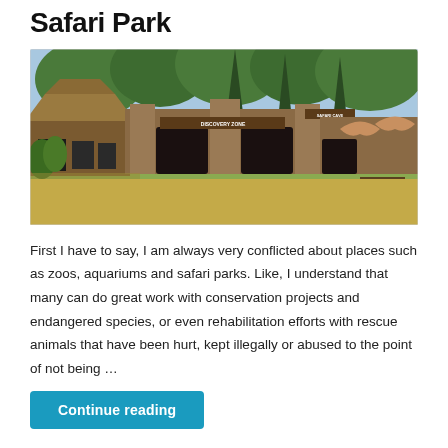Safari Park
[Figure (photo): Outdoor entrance area of a safari park showing rustic thatched buildings on the left, concrete walls with 'Discovery Zone' signage in the center, tall trees in the background, and a grassy area with picnic tables on the right.]
First I have to say, I am always very conflicted about places such as zoos, aquariums and safari parks. Like, I understand that many can do great work with conservation projects and endangered species, or even rehabilitation efforts with rescue animals that have been hurt, kept illegally or abused to the point of not being …